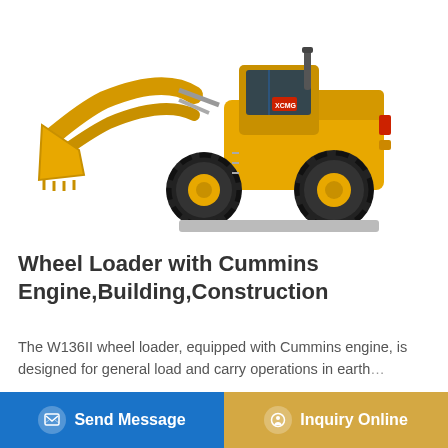[Figure (photo): Large yellow wheel loader (model W136II) with a front bucket attachment, black tires, and cab visible, photographed on white background]
Wheel Loader with Cummins Engine,Building,Construction
The W136II wheel loader, equipped with Cummins engine, is designed for general load and carry operations in earth...